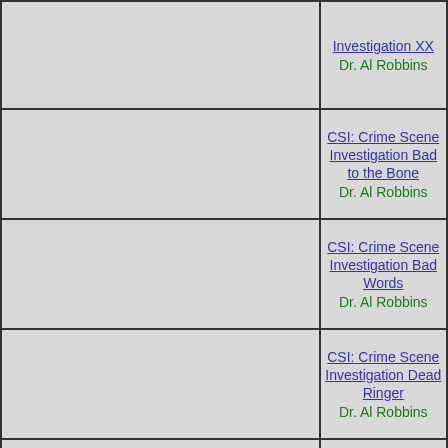|  | CSI: Crime Scene Investigation XX
Dr. Al Robbins |
|  | CSI: Crime Scene Investigation Bad to the Bone
Dr. Al Robbins |
|  | CSI: Crime Scene Investigation Bad Words
Dr. Al Robbins |
|  | CSI: Crime Scene Investigation Dead Ringer
Dr. Al Robbins |
|  | CSI: Crime Scene Investigation Turn of the Screws
Dr. Al Robbins |
|  | CSI: Crime Scene Investigation... |